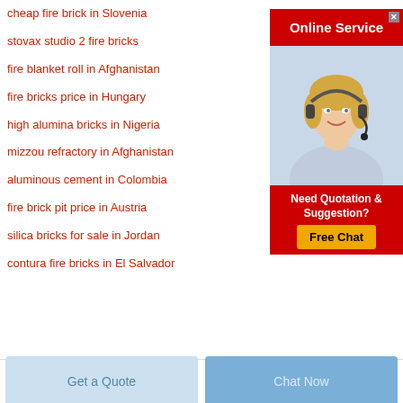cheap fire brick in Slovenia
stovax studio 2 fire bricks
fire blanket roll in Afghanistan
fire bricks price in Hungary
high alumina bricks in Nigeria
mizzou refractory in Afghanistan
aluminous cement in Colombia
fire brick pit price in Austria
silica bricks for sale in Jordan
contura fire bricks in El Salvador
[Figure (infographic): Online Service advertisement with red header, photo of blonde woman with headset, and red bottom section with 'Need Quotation & Suggestion?' text and yellow 'Free Chat' button]
Get a Quote
Chat Now